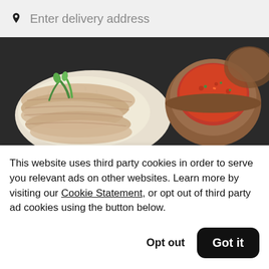Enter delivery address
[Figure (photo): Food photo showing sliced poached chicken over white rice with green onion garnish, alongside a wooden bowl of red chili sauce, on a dark slate background]
Chicken Meets Rice - Cupertino
New
$0.49 Delivery Fee • $
This website uses third party cookies in order to serve you relevant ads on other websites. Learn more by visiting our Cookie Statement, or opt out of third party ad cookies using the button below.
Opt out
Got it